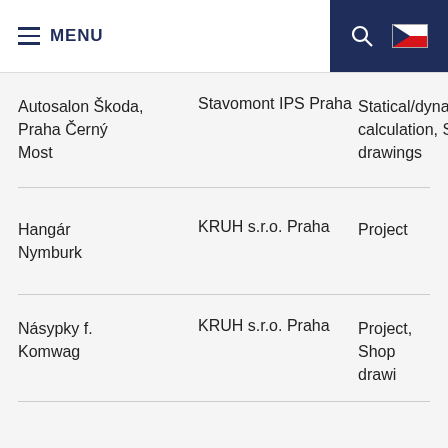MENU
| Project | Client | Scope |
| --- | --- | --- |
| Autosalon Škoda, Praha Černý Most | Stavomont IPS Praha | Statical/dynamical calculation, Shop drawings |
| Hangár Nymburk | KRUH s.r.o. Praha | Project |
| Násypky f. Komwag | KRUH s.r.o. Praha | Project, Shop drawings |